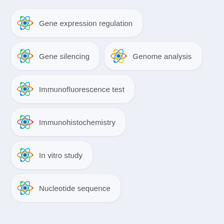Gene expression regulation
Gene silencing
Genome analysis
Immunofluorescence test
Immunohistochemistry
In vitro study
Nucleotide sequence